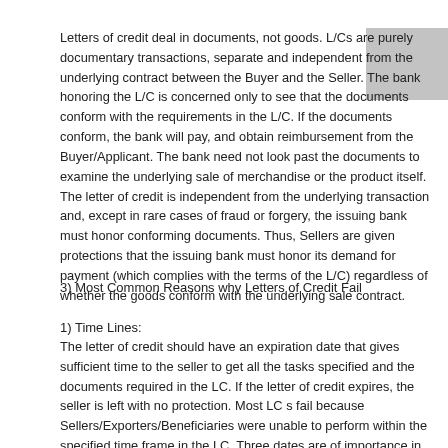Letters of credit deal in documents, not goods. L/Cs are purely documentary transactions, separate and independent from the underlying contract between the Buyer and the Seller. The bank honoring the L/C is concerned only to see that the documents conform with the requirements in the L/C. If the documents conform, the bank will pay, and obtain reimbursement from the Buyer/Applicant. The bank need not look past the documents to examine the underlying sale of merchandise or the product itself. The letter of credit is independent from the underlying transaction and, except in rare cases of fraud or forgery, the issuing bank must honor conforming documents. Thus, Sellers are given protections that the issuing bank must honor its demand for payment (which complies with the terms of the L/C) regardless of whether the goods conform with the underlying sale contract.
3) Most Common Reasons why Letters of Credit Fail
1) Time Lines:
The letter of credit should have an expiration date that gives sufficient time to the seller to get all the tasks specified and the documents required in the LC. If the letter of credit expires, the seller is left with no protection. Most LC s fail because Sellers/Exporters/Beneficiaries were unable to perform within the specified time frame in the LC. Three dates are of importance in an LC: a) The date by when shipment should have occurred. The date on the Bill of Lading. b) the date by when documents must be presented to the bank.